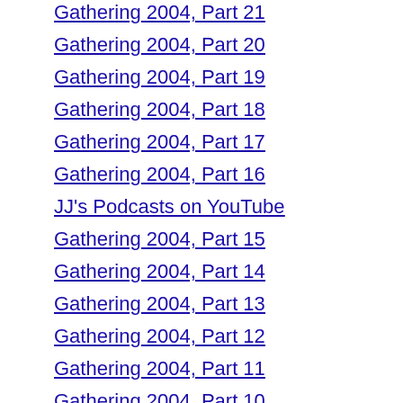Gathering 2004, Part 21
Gathering 2004, Part 20
Gathering 2004, Part 19
Gathering 2004, Part 18
Gathering 2004, Part 17
Gathering 2004, Part 16
JJ's Podcasts on YouTube
Gathering 2004, Part 15
Gathering 2004, Part 14
Gathering 2004, Part 13
Gathering 2004, Part 12
Gathering 2004, Part 11
Gathering 2004, Part 10
Gathering 2004, Part 9